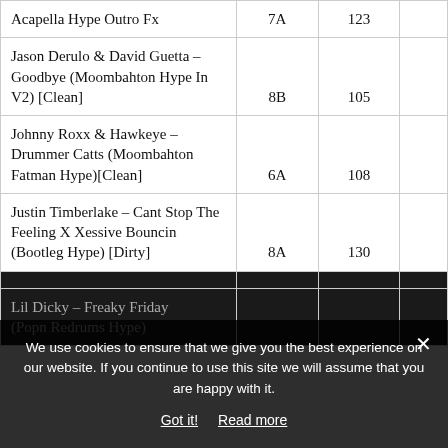| Track | Key | BPM |  |
| --- | --- | --- | --- |
| Acapella Hype Outro Fx | 7A | 123 |  |
| Jason Derulo & David Guetta – Goodbye (Moombahton Hype In V2) [Clean] | 8B | 105 |  |
| Johnny Roxx & Hawkeye – Drummer Catts (Moombahton Fatman Hype)[Clean] | 6A | 108 |  |
| Justin Timberlake – Cant Stop The Feeling X Xessive Bouncin (Bootleg Hype) [Dirty] | 8A | 130 |  |
| [obscured by cookie banner] |  |  |  |
| Lil Dicky – Freaky Friday (Popn Redrums Hype) |  |  |  |
We use cookies to ensure that we give you the best experience on our website. If you continue to use this site we will assume that you are happy with it.